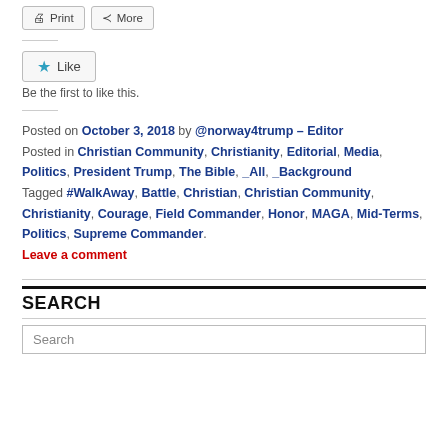Print | More (share buttons)
Like | Be the first to like this.
Posted on October 3, 2018 by @norway4trump – Editor
Posted in Christian Community, Christianity, Editorial, Media, Politics, President Trump, The Bible, _All, _Background
Tagged #WalkAway, Battle, Christian, Christian Community, Christianity, Courage, Field Commander, Honor, MAGA, Mid-Terms, Politics, Supreme Commander.
Leave a comment
SEARCH
Search